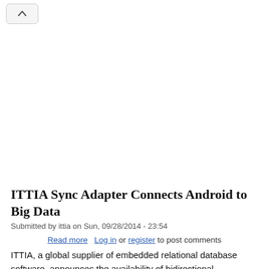[Figure (other): Navigation back button with upward chevron arrow in a rounded rectangle]
ITTIA Sync Adapter Connects Android to Big Data
Submitted by ittia on Sun, 09/28/2014 - 23:54
Read more   Log in or register to post comments
ITTIA, a global supplier of embedded relational database software, announces the availability of bidirectional synchronization for Android apps to bridge the gap of collecting big data on-the-go. Due to an unprecedented influx of sensitive data that is managed and collected on